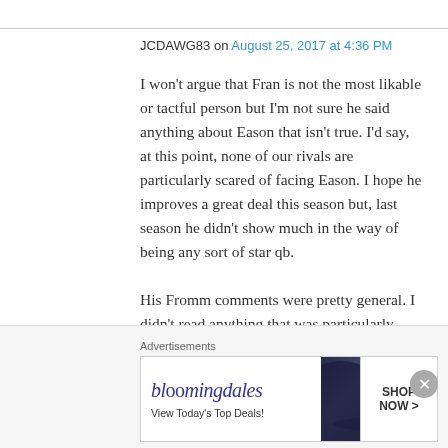JCDAWG83 on August 25, 2017 at 4:36 PM
I won't argue that Fran is not the most likable or tactful person but I'm not sure he said anything about Eason that isn't true. I'd say, at this point, none of our rivals are particularly scared of facing Eason. I hope he improves a great deal this season but, last season he didn't show much in the way of being any sort of star qb.

His Fromm comments were pretty general. I didn't read anything that was particularly objectionable. Based solely on GDay, Fromm did
Advertisements
[Figure (illustration): Bloomingdales advertisement banner showing logo with stylized text, tagline 'View Today's Top Deals!', image of woman in hat, and 'SHOP NOW >' button]